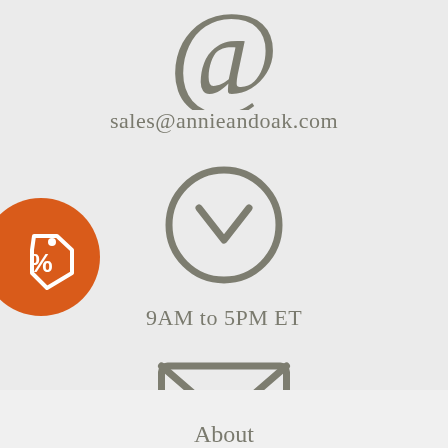[Figure (illustration): At-sign (@) icon in grey, email contact symbol]
sales@annieandoak.com
[Figure (illustration): Clock icon in grey showing approximately 4:30, representing business hours]
9AM to 5PM ET
[Figure (illustration): Envelope/mail icon in grey, postal address symbol]
1321 Upland Dr, Houston, TX 77043
[Figure (illustration): Orange circular discount/price tag badge with percent symbol on the left edge]
About